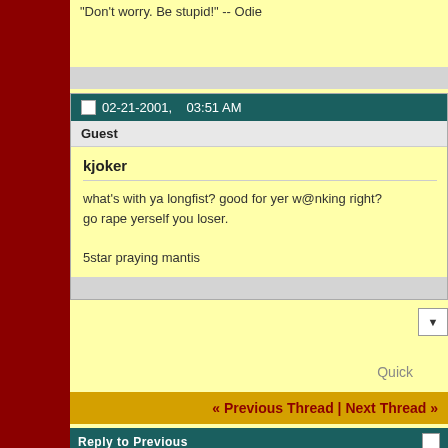"Don't worry. Be stupid!" -- Odie
02-21-2001, 03:51 AM
Guest
kjoker
what's with ya longfist? good for yer w@nking right?
go rape yerself you loser.

5star praying mantis
Quick
« Previous Thread | Next Thread »
Reply to Previous